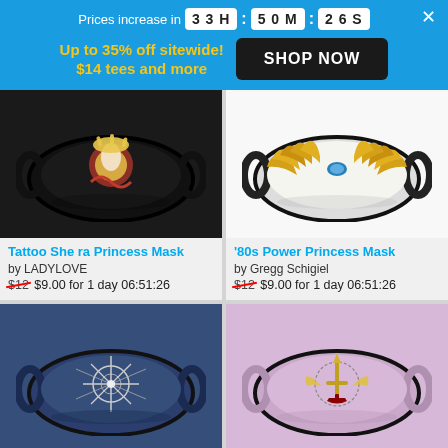Prices increase in 33H : 50M : 26S
Up to 35% off sitewide! $14 tees and more
SHOP NOW
[Figure (photo): Face mask with tattoo art of Lady Love / She-Ra Princess on black background]
[Figure (photo): Face mask with 80s Power Princess gold wing design on white background]
Tattoo She ra Princess Mask by LADYLOVE $12 $9.00 for 1 day 06:51:26
'80s Power Princess Mask by Gregg Schigiel $12 $9.00 for 1 day 06:51:26
[Figure (photo): Face mask with starburst/crystal design on dark blue background]
[Figure (photo): Face mask with sword/crown emblem design on pink/lavender background]